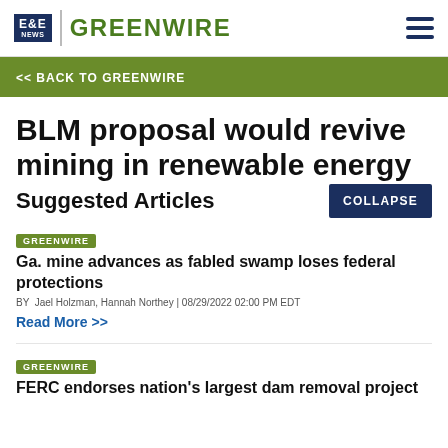E&E NEWS | GREENWIRE
<< BACK TO GREENWIRE
BLM proposal would revive mining in renewable energy
Suggested Articles
COLLAPSE
GREENWIRE
Ga. mine advances as fabled swamp loses federal protections
BY Jael Holzman, Hannah Northey | 08/29/2022 02:00 PM EDT
Read More >>
GREENWIRE
FERC endorses nation's largest dam removal project